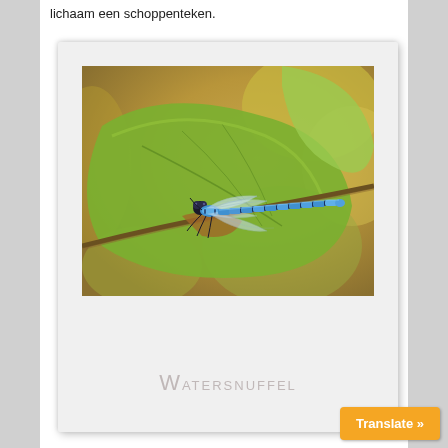lichaam een schoppenteken.
[Figure (photo): A blue damselfly (Watersnuffel) perched on a green leaf, photographed in a Polaroid-style frame with the label 'Watersnuffel' below the image.]
Watersnuffel